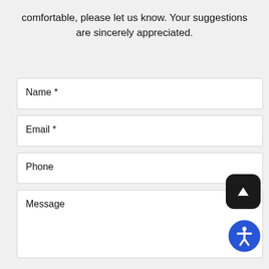comfortable, please let us know. Your suggestions are sincerely appreciated.
Name *
Email *
Phone
Message
[Figure (infographic): Black rounded square button with white upward-pointing triangle (scroll to top button)]
[Figure (infographic): Blue circle accessibility icon with person figure in the center]